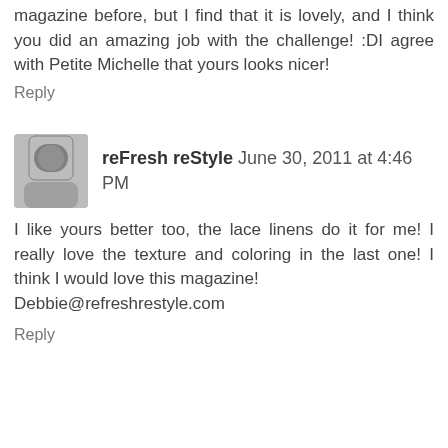magazine before, but I find that it is lovely, and I think you did an amazing job with the challenge! :DI agree with Petite Michelle that yours looks nicer!
Reply
reFresh reStyle June 30, 2011 at 4:46 PM
[Figure (photo): Avatar photo of reFresh reStyle commenter]
I like yours better too, the lace linens do it for me! I really love the texture and coloring in the last one! I think I would love this magazine! Debbie@refreshrestyle.com
Reply